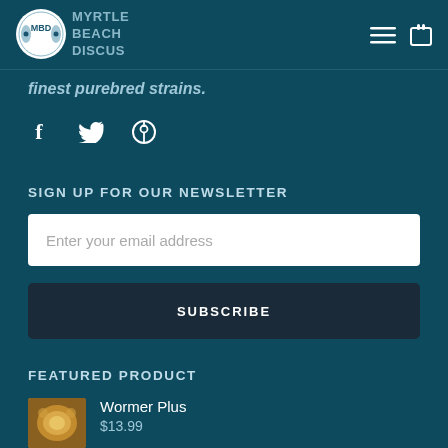Myrtle Beach Discus
finest purebred strains.
[Figure (infographic): Social media icons: Facebook (f), Twitter (bird), Pinterest (P)]
SIGN UP FOR OUR NEWSLETTER
Enter your email address
SUBSCRIBE
FEATURED PRODUCT
[Figure (photo): Product image of Wormer Plus]
Wormer Plus
$13.99